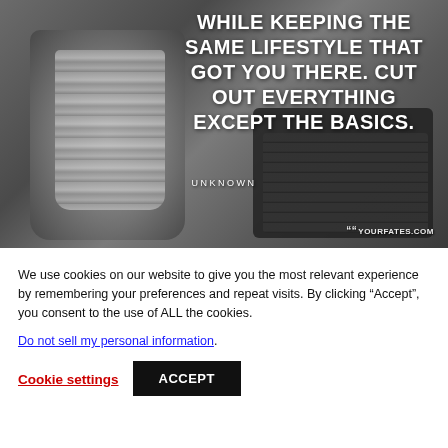[Figure (photo): Photo of a glass jar filled with coins next to a calculator on a desk, with white bold text overlay reading: 'WHILE KEEPING THE SAME LIFESTYLE THAT GOT YOU THERE. CUT OUT EVERYTHING EXCEPT THE BASICS.' attributed to UNKNOWN. Watermark '99YOURFATES.COM' in bottom right.]
We use cookies on our website to give you the most relevant experience by remembering your preferences and repeat visits. By clicking “Accept”, you consent to the use of ALL the cookies.
Do not sell my personal information.
Cookie settings
ACCEPT